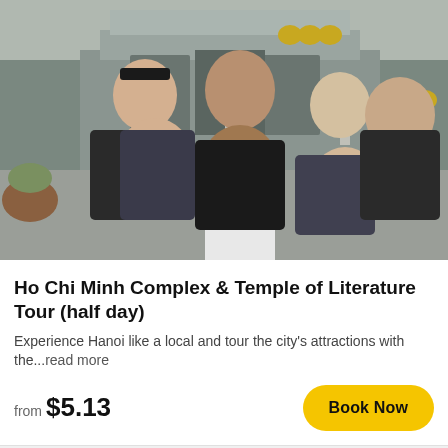[Figure (photo): Group of six tourists posing for a selfie in front of the Ho Chi Minh Mausoleum complex. The group includes a mix of men and women of various ethnicities, wearing winter jackets. The mausoleum building is visible in the background.]
Ho Chi Minh Complex & Temple of Literature Tour (half day)
Experience Hanoi like a local and tour the city's attractions with the...read more
from $5.13
Book Now
[Figure (photo): Partial view of a second tour listing showing a blue sky with clouds and what appears to be a tall tree or pillar structure on the left side.]